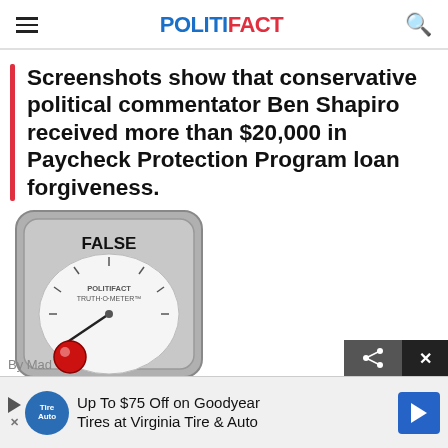POLITIFACT
Screenshots show that conservative political commentator Ben Shapiro received more than $20,000 in Paycheck Protection Program loan forgiveness.
[Figure (illustration): PolitiFact Truth-O-Meter gauge showing rating of FALSE, with a red indicator light at the bottom left of the dial.]
By Mad
Up To $75 Off on Goodyear Tires at Virginia Tire & Auto